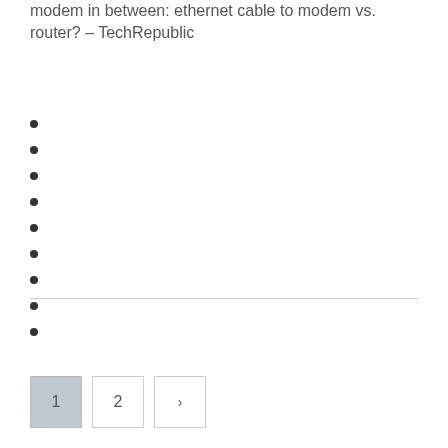modem in between: ethernet cable to modem vs. router? - TechRepublic